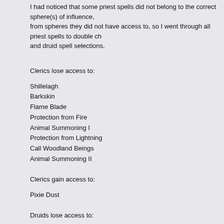I had noticed that some priest spells did not belong to the correct sphere(s) of influence, from spheres they did not have access to, so I went through all priest spells to double ch and druid spell selections.
Clerics lose access to:
Shillelagh
Barkskin
Flame Blade
Protection from Fire
Animal Summoning I
Protection from Lightning
Call Woodland Beings
Animal Summoning II
Clerics gain access to:
Pixie Dust
Druids lose access to:
Detect Evil
Armor of Faith
Doom
Find Traps
Know Alignment
Resist Fire/Resist Cold
Invisibility Purge